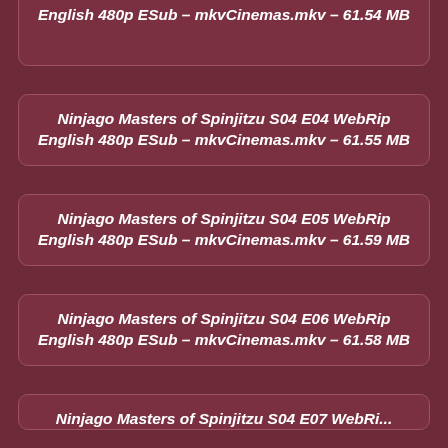Ninjago Masters of Spinjitzu S04 E03 WebRip English 480p ESub – mkvCinemas.mkv – 61.54 MB
Ninjago Masters of Spinjitzu S04 E04 WebRip English 480p ESub – mkvCinemas.mkv – 61.55 MB
Ninjago Masters of Spinjitzu S04 E05 WebRip English 480p ESub – mkvCinemas.mkv – 61.59 MB
Ninjago Masters of Spinjitzu S04 E06 WebRip English 480p ESub – mkvCinemas.mkv – 61.58 MB
Ninjago Masters of Spinjitzu S04 E07 WebRi...